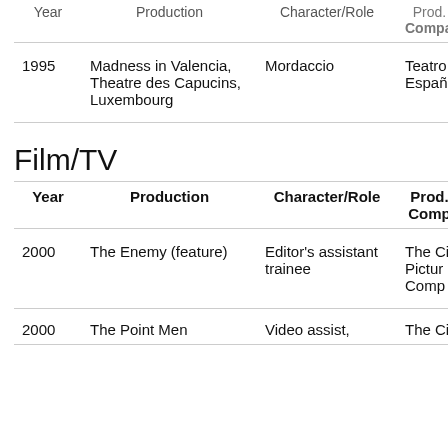| Year | Production | Character/Role | Prod. Company |
| --- | --- | --- | --- |
| 1995 | Madness in Valencia, Theatre des Capucins, Luxembourg | Mordaccio | Teatro Español |
Film/TV
| Year | Production | Character/Role | Prod. Comp |
| --- | --- | --- | --- |
| 2000 | The Enemy (feature) | Editor's assistant trainee | The C. Pictur Comp |
| 2000 | The Point Men | Video assist, | The Ci |